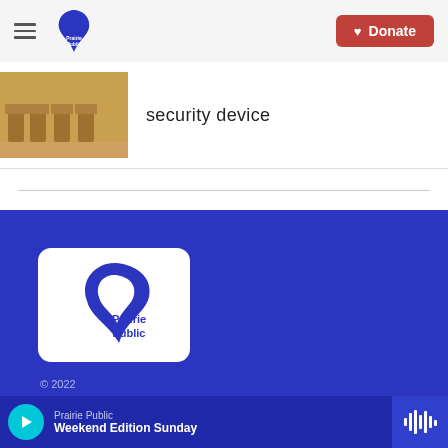Prairie Public — Donate
[Figure (logo): Prairie Public logo — a blue stylized bird/flame shape with text 'Prairie Public']
security device
[Figure (logo): Prairie Public logo on white rounded square background — blue stylized bird/flame shape with text 'Prairie Public']
© 2022
About Prairie Public
Prairie Public — Weekend Edition Sunday (audio player bar)